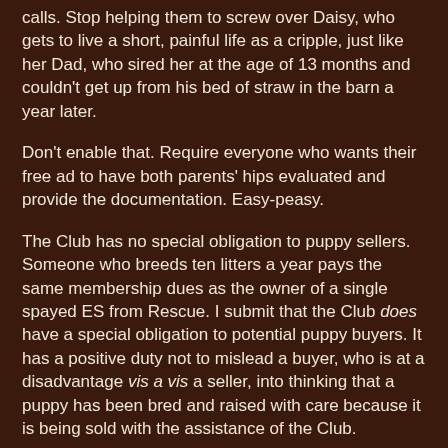calls. Stop helping them to screw over Daisy, who gets to live a short, painful life as a cripple, just like her Dad, who sired her at the age of 13 months and couldn't get up from his bed of straw in the barn a year later.
Don't enable that. Require everyone who wants their free ad to have both parents' hips evaluated and provide the documentation. Easy-peasy.
The Club has no special obligation to puppy sellers. Someone who breeds ten litters a year pays the same membership dues as the owner of a single spayed ES from Rescue. I submit that the Club does have a special obligation to potential puppy buyers. It has a positive duty not to mislead a buyer, who is at a disadvantage vis a vis a seller, into thinking that a puppy has been bred and raised with care because it is being sold with the assistance of the Club.
You want free advertising, with the implied endorsement of the Club?